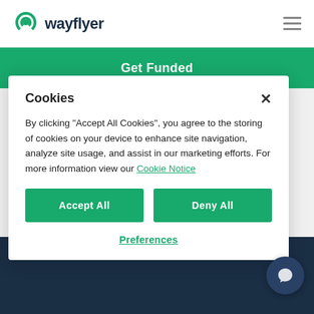[Figure (logo): Wayflyer logo with green spiral icon and dark text 'wayflyer']
Get Funded
Cookies
By clicking "Accept All Cookies", you agree to the storing of cookies on your device to enhance site navigation, analyze site usage, and assist in our marketing efforts. For more information view our Cookie Notice
Accept All
Deny All
Preferences